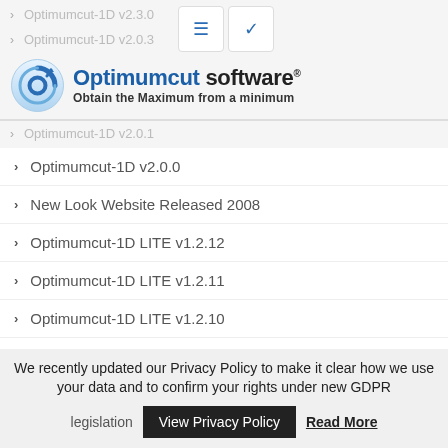Optimumcut-1D v2.3.0
Optimumcut-1D v2.0.3
[Figure (logo): Optimumcut software logo with circular icon and tagline 'Obtain the Maximum from a minimum']
Optimumcut-1D v2.0.0
New Look Website Released 2008
Optimumcut-1D LITE v1.2.12
Optimumcut-1D LITE v1.2.11
Optimumcut-1D LITE v1.2.10
Optimumcut-1D LITE v1.2.9
Optimumcut-1D LITE v1.2.8
We recently updated our Privacy Policy to make it clear how we use your data and to confirm your rights under new GDPR legislation   View Privacy Policy   Read More